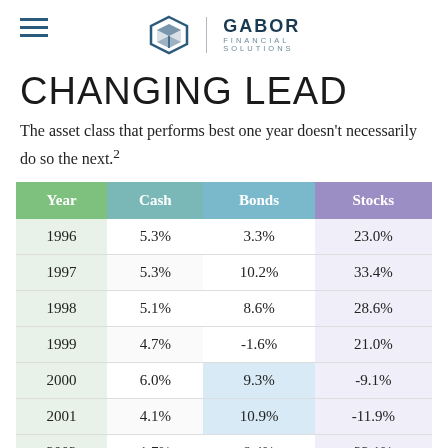GABOR FINANCIAL SOLUTIONS
CHANGING LEAD
The asset class that performs best one year doesn't necessarily do so the next.²
| Year | Cash | Bonds | Stocks |
| --- | --- | --- | --- |
| 1996 | 5.3% | 3.3% | 23.0% |
| 1997 | 5.3% | 10.2% | 33.4% |
| 1998 | 5.1% | 8.6% | 28.6% |
| 1999 | 4.7% | -1.6% | 21.0% |
| 2000 | 6.0% | 9.3% | -9.1% |
| 2001 | 4.1% | 10.9% | -11.9% |
| 2002 | 1.7% | 9.4% | 22.1% |